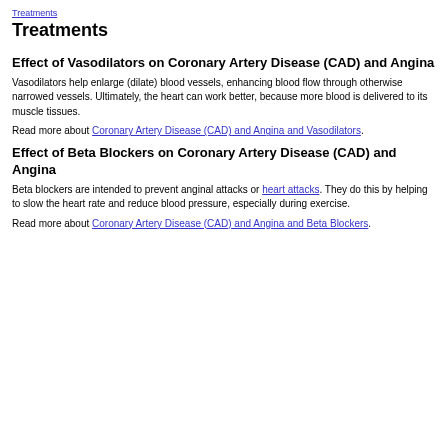Treatments
Treatments
Effect of Vasodilators on Coronary Artery Disease (CAD) and Angina
Vasodilators help enlarge (dilate) blood vessels, enhancing blood flow through otherwise narrowed vessels. Ultimately, the heart can work better, because more blood is delivered to its muscle tissues.
Read more about Coronary Artery Disease (CAD) and Angina and Vasodilators.
Effect of Beta Blockers on Coronary Artery Disease (CAD) and Angina
Beta blockers are intended to prevent anginal attacks or heart attacks. They do this by helping to slow the heart rate and reduce blood pressure, especially during exercise.
Read more about Coronary Artery Disease (CAD) and Angina and Beta Blockers.